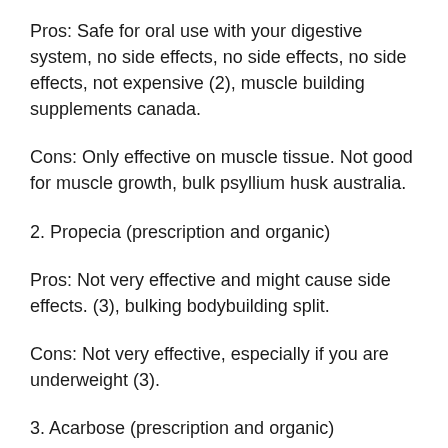Pros: Safe for oral use with your digestive system, no side effects, no side effects, no side effects, not expensive (2), muscle building supplements canada.
Cons: Only effective on muscle tissue. Not good for muscle growth, bulk psyllium husk australia.
2. Propecia (prescription and organic)
Pros: Not very effective and might cause side effects. (3), bulking bodybuilding split.
Cons: Not very effective, especially if you are underweight (3).
3. Acarbose (prescription and organic)
Pros: Good for the growth of fat in your food, not very effective.